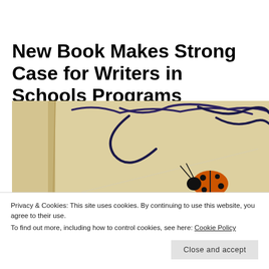New Book Makes Strong Case for Writers in Schools Programs
[Figure (photo): Close-up photo of a ladybug on a handwritten page with cursive writing visible, beige/cream background]
Privacy & Cookies: This site uses cookies. By continuing to use this website, you agree to their use.
To find out more, including how to control cookies, see here: Cookie Policy
Close and accept
in the Community
A Guide...